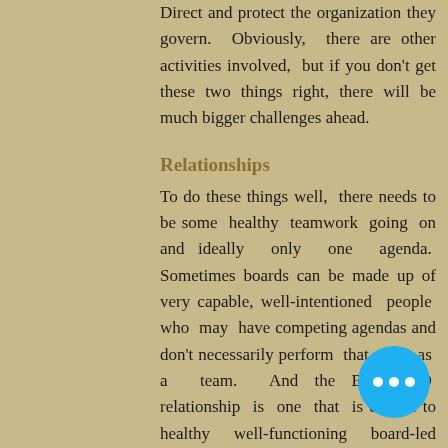Direct and protect the organization they govern. Obviously, there are other activities involved, but if you don't get these two things right, there will be much bigger challenges ahead.
Relationships
To do these things well, there needs to be some healthy teamwork going on and ideally only one agenda. Sometimes boards can be made up of very capable, well-intentioned people who may have competing agendas and don't necessarily perform that well as a team. And the Board/CEO relationship is one that is critical to healthy well-functioning board-led organizations.
Bottom line is that relationships, how they're aligned and clarity of purpose are